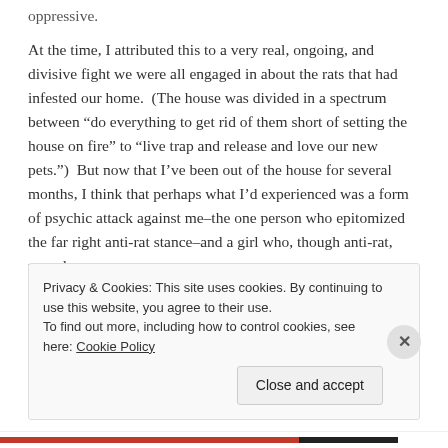oppressive.
At the time, I attributed this to a very real, ongoing, and divisive fight we were all engaged in about the rats that had infested our home. (The house was divided in a spectrum between “do everything to get rid of them short of setting the house on fire” to “live trap and release and love our new pets.”) But now that I’ve been out of the house for several months, I think that perhaps what I’d experienced was a form of psychic attack against me–the one person who epitomized the far right anti-rat stance–and a girl who, though anti-rat, was also
Privacy & Cookies: This site uses cookies. By continuing to use this website, you agree to their use.
To find out more, including how to control cookies, see here: Cookie Policy
Close and accept